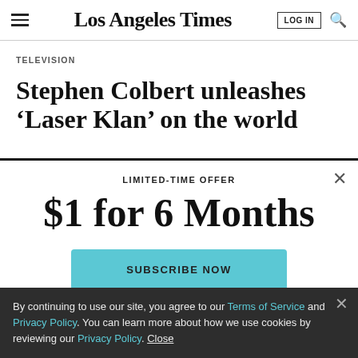Los Angeles Times
TELEVISION
Stephen Colbert unleashes ‘Laser Klan’ on the world
LIMITED-TIME OFFER
$1 for 6 Months
SUBSCRIBE NOW
By continuing to use our site, you agree to our Terms of Service and Privacy Policy. You can learn more about how we use cookies by reviewing our Privacy Policy. Close